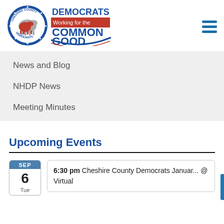[Figure (logo): Cheshire County Democrats logo - circular badge with donkey and stars, next to text 'DEMOCRATS Working for the COMMON GOOD' with red banner and blue swoosh]
[Figure (other): Hamburger menu icon - three horizontal blue bars]
News and Blog
NHDP News
Meeting Minutes
Upcoming Events
6:30 pm Cheshire County Democrats Januar... @ Virtual